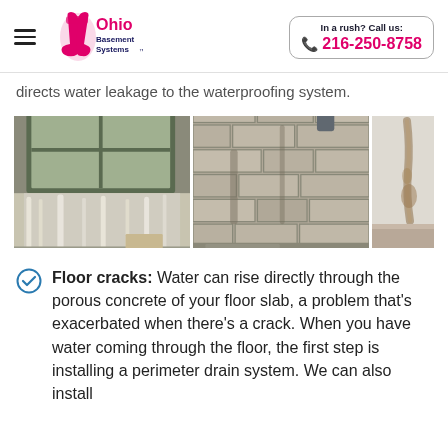Ohio Basement Systems | In a rush? Call us: 216-250-8758
directs water leakage to the waterproofing system.
[Figure (photo): Three photos of basement water damage: left shows a corner with white efflorescence on block wall and wet floor near a window well; center shows a stone/block wall corner with water stains and wet floor; right shows a wall with a streak of water stain/mold running down.]
Floor cracks: Water can rise directly through the porous concrete of your floor slab, a problem that's exacerbated when there's a crack. When you have water coming through the floor, the first step is installing a perimeter drain system. We can also install